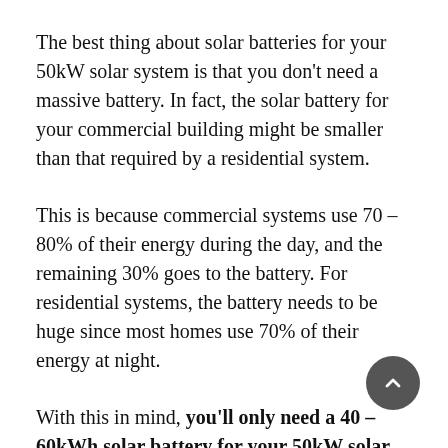The best thing about solar batteries for your 50kW solar system is that you don't need a massive battery. In fact, the solar battery for your commercial building might be smaller than that required by a residential system.
This is because commercial systems use 70 – 80% of their energy during the day, and the remaining 30% goes to the battery. For residential systems, the battery needs to be huge since most homes use 70% of their energy at night.
With this in mind, you'll only need a 40 – 60kWh solar battery for your 50kW solar system. You can opt for a slightly smaller or larger battery, but you may not get the savings you want.